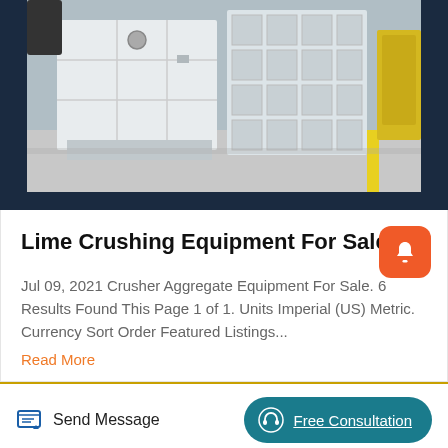[Figure (photo): Industrial lime crushing equipment / jaw crusher machines photographed in a factory or outdoor yard. Large white/grey heavy machinery with structural frames, multiple units visible. Yellow painted equipment in background right. Concrete floor with yellow painted line visible.]
Lime Crushing Equipment For Sale
Jul 09, 2021 Crusher Aggregate Equipment For Sale. 6 Results Found This Page 1 of 1. Units Imperial (US) Metric. Currency Sort Order Featured Listings...
Read More
Send Message
Free Consultation